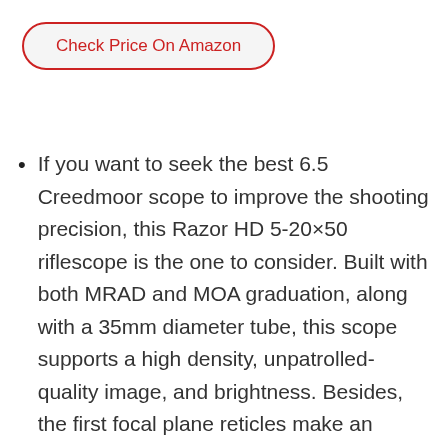Check Price On Amazon
If you want to seek the best 6.5 Creedmoor scope to improve the shooting precision, this Razor HD 5-20×50 riflescope is the one to consider. Built with both MRAD and MOA graduation, along with a 35mm diameter tube, this scope supports a high density, unpatrolled-quality image, and brightness. Besides, the first focal plane reticles make an optimal versatile when it comes to sub tensions and the entire zoom range. You can also keep the lenses from dirt and scratches thanks to its waterproof, fog-proof and